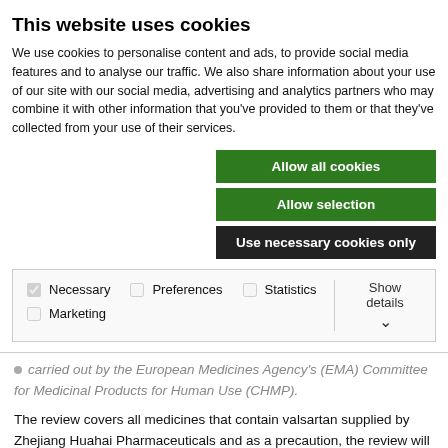This website uses cookies
We use cookies to personalise content and ads, to provide social media features and to analyse our traffic. We also share information about your use of our site with our social media, advertising and analytics partners who may combine it with other information that you've provided to them or that they've collected from your use of their services.
Allow all cookies
Allow selection
Use necessary cookies only
Necessary  Preferences  Statistics  Marketing  Show details
carried out by the European Medicines Agency's (EMA) Committee for Medicinal Products for Human Use (CHMP).
The review covers all medicines that contain valsartan supplied by Zhejiang Huahai Pharmaceuticals and as a precaution, the review will also consider whether other valsartan medicines may be affected. The review is to investigate the impact that use of medicines containing